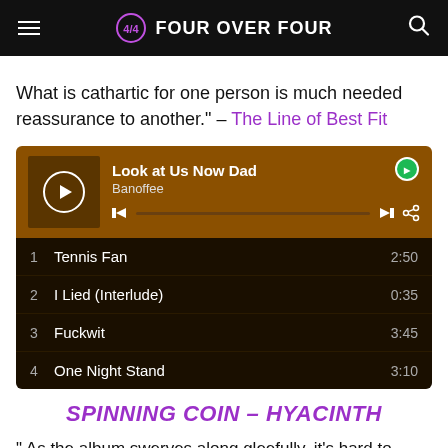FOUR OVER FOUR
What is cathartic for one person is much needed reassurance to another." – The Line of Best Fit
[Figure (screenshot): Spotify player widget showing 'Look at Us Now Dad' by Banoffee with track listing: 1 Tennis Fan 2:50, 2 I Lied (Interlude) 0:35, 3 Fuckwit 3:45, 4 One Night Stand 3:10]
SPINNING COIN – HYACINTH
" As the album swerves along gleefully, it's hard to